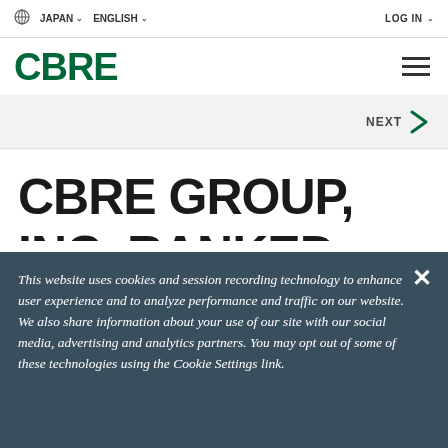JAPAN  ENGLISH  LOG IN
[Figure (logo): CBRE logo in dark green with hamburger menu icon on the right]
NEXT >
CBRE GROUP, INC. RANKED
This website uses cookies and session recording technology to enhance user experience and to analyze performance and traffic on our website. We also share information about your use of our site with our social media, advertising and analytics partners. You may opt out of some of these technologies using the Cookie Settings link.